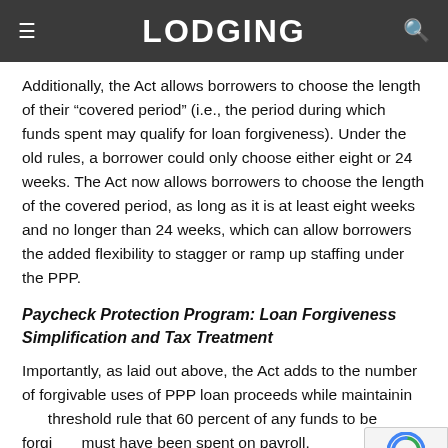LODGING
Additionally, the Act allows borrowers to choose the length of their “covered period” (i.e., the period during which funds spent may qualify for loan forgiveness). Under the old rules, a borrower could only choose either eight or 24 weeks. The Act now allows borrowers to choose the length of the covered period, as long as it is at least eight weeks and no longer than 24 weeks, which can allow borrowers the added flexibility to stagger or ramp up staffing under the PPP.
Paycheck Protection Program: Loan Forgiveness Simplification and Tax Treatment
Importantly, as laid out above, the Act adds to the number of forgivable uses of PPP loan proceeds while maintaining the threshold rule that 60 percent of any funds to be forgiven must have been spent on payroll.